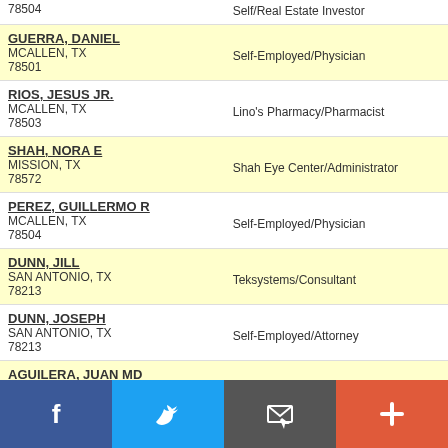78504 | Self/Real Estate Investor
GUERRA, DANIEL
MCALLEN, TX
78501
Self-Employed/Physician
RIOS, JESUS JR.
MCALLEN, TX
78503
Lino's Pharmacy/Pharmacist
SHAH, NORA E
MISSION, TX
78572
Shah Eye Center/Administrator
PEREZ, GUILLERMO R
MCALLEN, TX
78504
Self-Employed/Physician
DUNN, JILL
SAN ANTONIO, TX
78213
Teksystems/Consultant
DUNN, JOSEPH
SAN ANTONIO, TX
78213
Self-Employed/Attorney
AGUILERA, JUAN MD
EDINBURG, TX
78539
Aguilera Pediatrics/Physician
GARZA, JACINTO
MERCEDES, TX
78570
L&G Consulting Engineers/Engineer